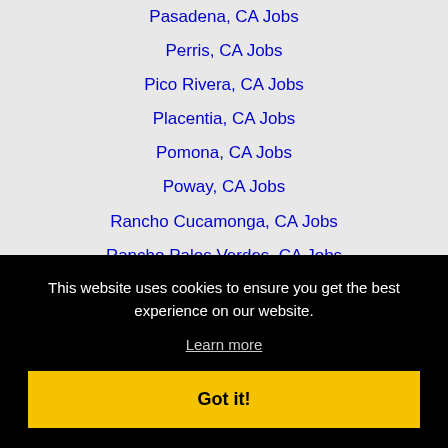Pasadena, CA Jobs
Perris, CA Jobs
Pico Rivera, CA Jobs
Placentia, CA Jobs
Pomona, CA Jobs
Poway, CA Jobs
Rancho Cucamonga, CA Jobs
Rancho Palos Verdes, CA Jobs
Rancho Santa Margarita, CA Jobs
This website uses cookies to ensure you get the best experience on our website.
Learn more
Got it!
San Gabriel, CA Jobs